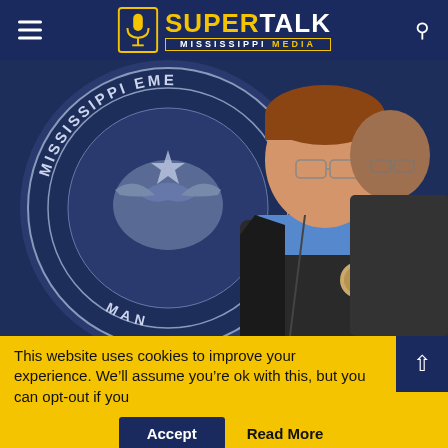SuperTalk Mississippi Media
[Figure (photo): Governor Reeves speaking at a podium in front of a Mississippi Emergency Management Agency seal, with another person visible behind him]
Gov. Reeves: ‘There will be future interruptions’ regarding Jackson water
This website uses cookies to improve your experience. We’ll assume you’re ok with this, but you can opt-out if you wish.